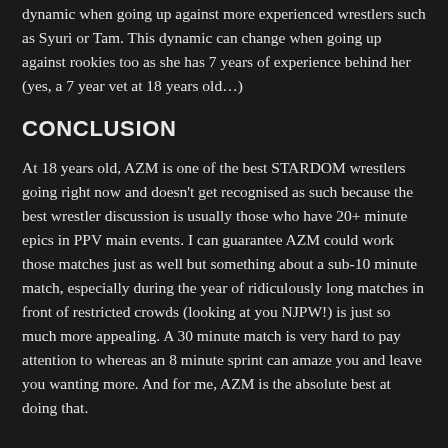dynamic when going up against more experienced wrestlers such as Syuri or Tam. This dynamic can change when going up against rookies too as she has 7 years of experience behind her (yes, a 7 year vet at 18 years old…)
CONCLUSION
At 18 years old, AZM is one of the best STARDOM wrestlers going right now and doesn't get recognised as such because the best wrestler discussion is usually those who have 20+ minute epics in PPV main events. I can guarantee AZM could work those matches just as well but something about a sub-10 minute match, especially during the year of ridiculously long matches in front of restricted crowds (looking at you NJPW!) is just so much more appealing. A 30 minute match is very hard to pay attention to whereas an 8 minute sprint can amaze you and leave you wanting more. And for me, AZM is the absolute best at doing that.